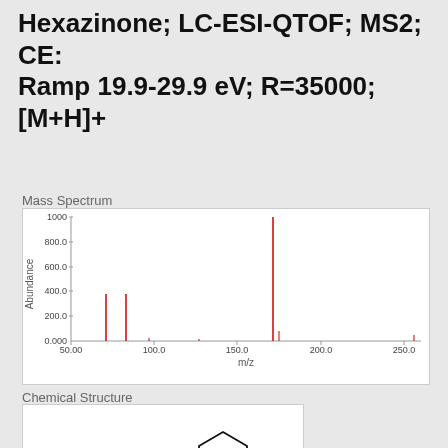Hexazinone; LC-ESI-QTOF; MS2; CE: Ramp 19.9-29.9 eV; R=35000; [M+H]+
Mass Spectrum
[Figure (continuous-plot): Mass spectrum (MS2) of Hexazinone showing abundance vs m/z. Major peak near m/z 171 reaching ~1000 abundance, two peaks near m/z 71 and 83 at ~380 abundance, small peaks near m/z 100, 127, and 256. X-axis: 50.00 to 250+ m/z. Y-axis: 0.000 to 1000 abundance.]
Chemical Structure
[Figure (illustration): Chemical structure of Hexazinone showing a cyclohexyl ring connected via nitrogen to a ring containing an oxygen carbonyl group and a methyl group on a nitrogen, with additional N atoms.]